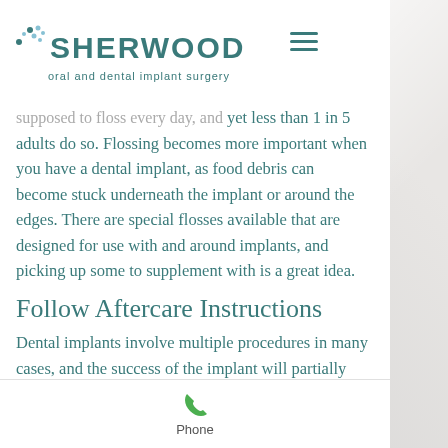SHERWOOD oral and dental implant surgery
supposed to floss every day, and yet less than 1 in 5 adults do so. Flossing becomes more important when you have a dental implant, as food debris can become stuck underneath the implant or around the edges. There are special flosses available that are designed for use with and around implants, and picking up some to supplement with is a great idea.
Follow Aftercare Instructions
Dental implants involve multiple procedures in many cases, and the success of the implant will partially
Phone